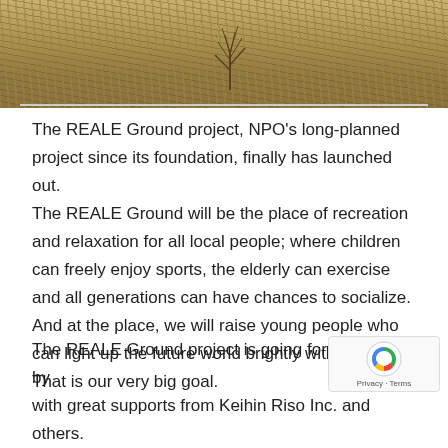[Figure (photo): Photograph of dry grassland/scrubland with brown dried grasses and a small shrub or bush in the center, taken in a field environment.]
The REALE Ground project, NPO's long-planned project since its foundation, finally has launched out.
The REALE Ground will be the place of recreation and relaxation for all local people; where children can freely enjoy sports, the elderly can exercise and all generations can have chances to socialize.
And at the place, we will raise young people who can light up the future world brightly with hope. That is our very big goal.
The REALE Ground project is going forward step by step with great supports from Keihin Riso Inc. and others.